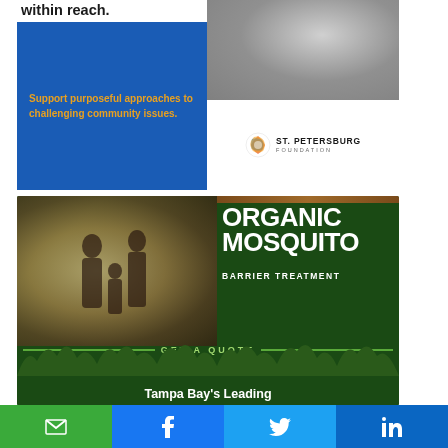within reach.
Support purposeful approaches to challenging community issues.
[Figure (logo): St. Petersburg Foundation logo with colorful circular icon and text ST. PETERSBURG FOUNDATION]
[Figure (infographic): Organic Mosquito Barrier Treatment advertisement with family walking photo, green dark background, GET A QUOTE text, Tampa Bay's Leading text, and grass silhouette]
[Figure (infographic): Social share bar with email (green), Facebook (blue), Twitter (light blue), and LinkedIn (dark blue) buttons]